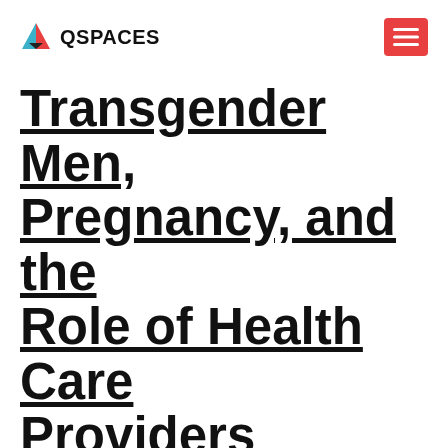QSPACES
Transgender Men, Pregnancy, and the Role of Health Care Providers
Transgender Men, Pregnancy, and the Role of Health Care Providers